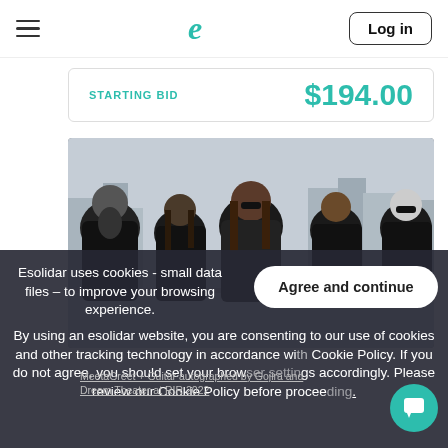Esolidar — hamburger menu, logo, Log in button
STARTING BID   $194.00
[Figure (photo): Five members of the band Dream Theater posing on a rooftop with a city skyline behind them, all wearing dark clothing and sunglasses]
Esolidar uses cookies - small data files – to improve your browsing experience. By using an esolidar website, you are consenting to our use of cookies and other tracking technology in accordance with Cookie Policy. If you do not agree, you should set your browser settings accordingly. Please review our Cookie Policy before proceeding.
MeetaGreet + Guitar autographed by Gojira and Dream Theater at RIR 2022